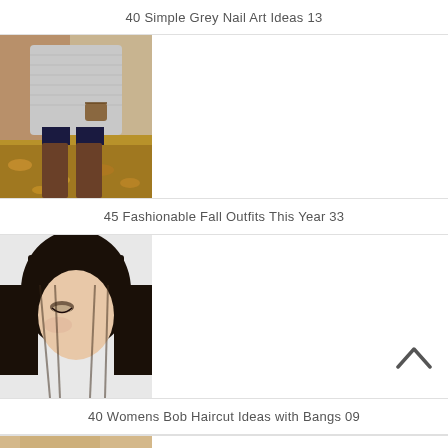40 Simple Grey Nail Art Ideas 13
[Figure (photo): Woman wearing a grey knit poncho top with dark jeans and tall brown suede over-the-knee boots, standing outdoors among fallen autumn leaves]
45 Fashionable Fall Outfits This Year 33
[Figure (photo): Close-up side profile of a woman with a dark brunette bob haircut with straight bangs]
40 Womens Bob Haircut Ideas with Bangs 09
[Figure (photo): Partial view of a person in warm-toned clothing, bottom of page cut off]